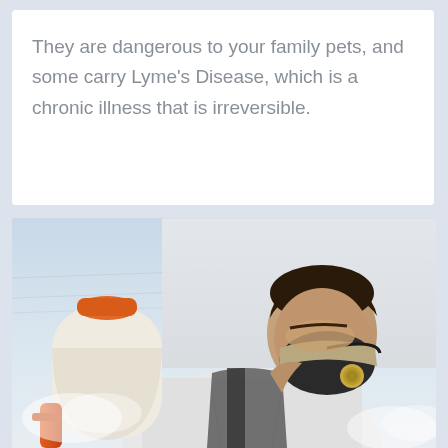They are dangerous to your family pets, and some carry Lyme's Disease, which is a chronic illness that is irreversible.
[Figure (photo): A man wearing a respirator/gas mask and carrying a pest control sprayer backpack, photographed from behind-side angle against a light sky background. He is wearing a white t-shirt.]